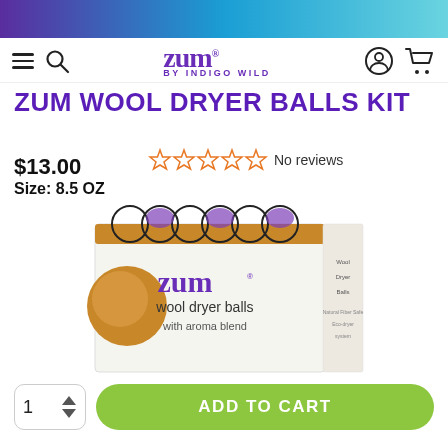Zum by Indigo Wild — navigation header
ZUM WOOL DRYER BALLS KIT
$13.00
No reviews
Size: 8.5 OZ
[Figure (photo): Product box of Zum wool dryer balls with aroma blend, white box with decorative pattern and gold band at top]
1  ADD TO CART